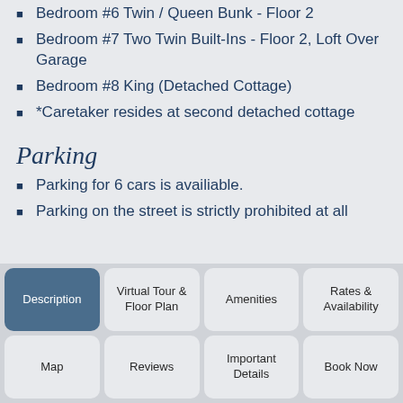Bedroom #6 Twin / Queen Bunk - Floor 2
Bedroom #7 Two Twin Built-Ins - Floor 2, Loft Over Garage
Bedroom #8 King (Detached Cottage)
*Caretaker resides at second detached cottage
Parking
Parking for 6 cars is availiable.
Parking on the street is strictly prohibited at all
Navigation: Description | Virtual Tour & Floor Plan | Amenities | Rates & Availability | Map | Reviews | Important Details | Book Now